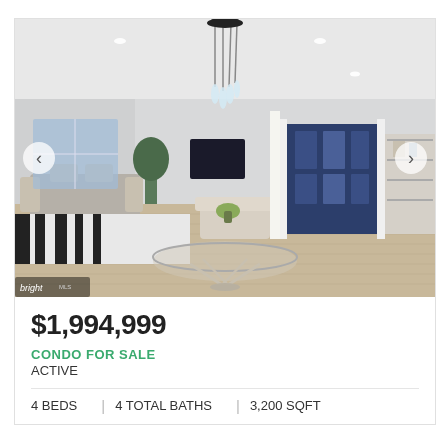[Figure (photo): Interior photo of a modern open-plan living space with hardwood floors, a round glass coffee table, pendant chandelier, and a navy blue front door in the background. Navigation arrows visible on left and right sides.]
$1,994,999
CONDO FOR SALE
ACTIVE
4 BEDS  |  4 TOTAL BATHS  |  3,200 SQFT